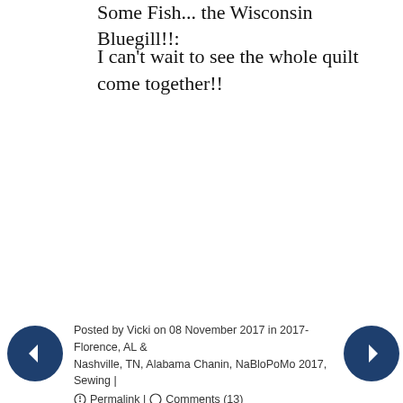Some Fish... the Wisconsin Bluegill!!
I can't wait to see the whole quilt come together!!
Posted by Vicki on 08 November 2017 in 2017-Florence, AL & Nashville, TN, Alabama Chanin, NaBloPoMo 2017, Sewing | ⚓ Permalink | ○ Comments (13)